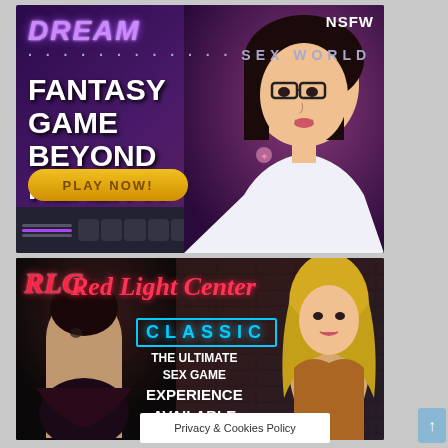[Figure (screenshot): Dream SexWorld fantasy game advertisement banner. Shows 'NSFW' badge top right, 'DREAM SEXWORLD' logo top left in purple, large white bold text reading 'FANTASY GAME BEYOND REALITY!', a yellow 'PLAY NOW!' button, a 3D animated female character with glasses on the right side, and a game toolbar at the bottom.]
[Figure (screenshot): Red Light Center Classic adult game advertisement banner. Shows 'RLC Red Light Center CLASSIC' logo in red neon and cyan neon text, tagline 'THE ULTIMATE SEX GAME EXPERIENCE AVAILABLE', 3D animated characters, dark brick-wall background.]
Privacy & Cookies Policy